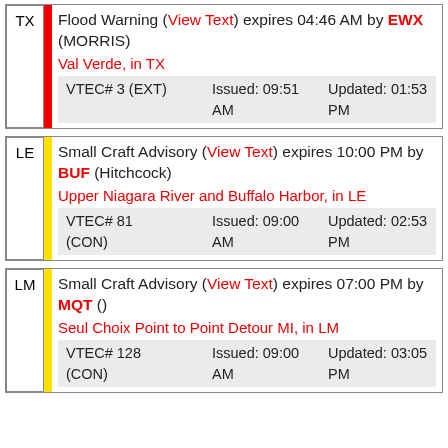| State | Alert | Issued | Updated |
| --- | --- | --- | --- |
| TX | Flood Warning (View Text) expires 04:46 AM by EWX (MORRIS) Val Verde, in TX VTEC# 3 (EXT) | Issued: 09:51 AM | Updated: 01:53 PM |
| LE | Small Craft Advisory (View Text) expires 10:00 PM by BUF (Hitchcock) Upper Niagara River and Buffalo Harbor, in LE VTEC# 81 (CON) | Issued: 09:00 AM | Updated: 02:53 PM |
| LM | Small Craft Advisory (View Text) expires 07:00 PM by MQT () Seul Choix Point to Point Detour MI, in LM VTEC# 128 (CON) | Issued: 09:00 AM | Updated: 03:05 PM |